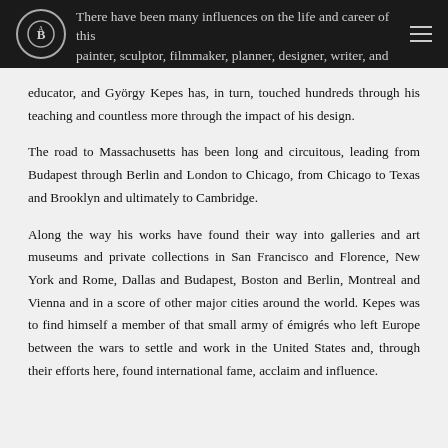There have been many influences on the life and career of this painter, sculptor, filmmaker, planner, designer, writer, and
educator, and György Kepes has, in turn, touched hundreds through his teaching and countless more through the impact of his design.
The road to Massachusetts has been long and circuitous, leading from Budapest through Berlin and London to Chicago, from Chicago to Texas and Brooklyn and ultimately to Cambridge.
Along the way his works have found their way into galleries and art museums and private collections in San Francisco and Florence, New York and Rome, Dallas and Budapest, Boston and Berlin, Montreal and Vienna and in a score of other major cities around the world. Kepes was to find himself a member of that small army of émigrés who left Europe between the wars to settle and work in the United States and, through their efforts here, found international fame, acclaim and influence.